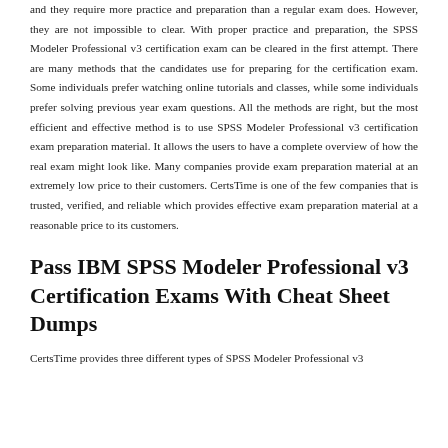and they require more practice and preparation than a regular exam does. However, they are not impossible to clear. With proper practice and preparation, the SPSS Modeler Professional v3 certification exam can be cleared in the first attempt. There are many methods that the candidates use for preparing for the certification exam. Some individuals prefer watching online tutorials and classes, while some individuals prefer solving previous year exam questions. All the methods are right, but the most efficient and effective method is to use SPSS Modeler Professional v3 certification exam preparation material. It allows the users to have a complete overview of how the real exam might look like. Many companies provide exam preparation material at an extremely low price to their customers. CertsTime is one of the few companies that is trusted, verified, and reliable which provides effective exam preparation material at a reasonable price to its customers.
Pass IBM SPSS Modeler Professional v3 Certification Exams With Cheat Sheet Dumps
CertsTime provides three different types of SPSS Modeler Professional v3